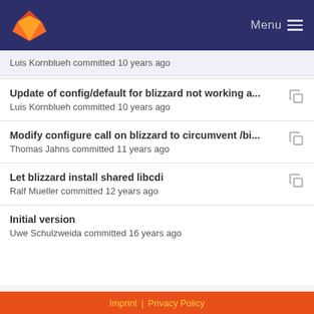GitLab — Menu
Luis Kornblueh committed 10 years ago
Update of config/default for blizzard not working a...
Luis Kornblueh committed 10 years ago
Modify configure call on blizzard to circumvent /bi...
Thomas Jahns committed 11 years ago
Let blizzard install shared libcdi
Ralf Mueller committed 12 years ago
Initial version
Uwe Schulzweida committed 16 years ago
Imprint | Privacy Policy